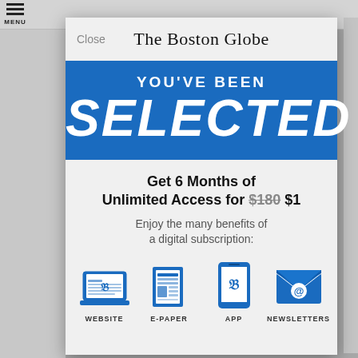[Figure (screenshot): Screenshot of The Boston Globe website with a modal subscription offer dialog overlay. The modal has a blue banner saying YOU'VE BEEN SELECTED, an offer for 6 months unlimited access for $180 crossed out then $1, and icons for Website, E-Paper, App, and Newsletters.]
The Boston Globe
YOU'VE BEEN
SELECTED
Get 6 Months of Unlimited Access for $180 $1
Enjoy the many benefits of a digital subscription:
WEBSITE
E-PAPER
APP
NEWSLETTERS